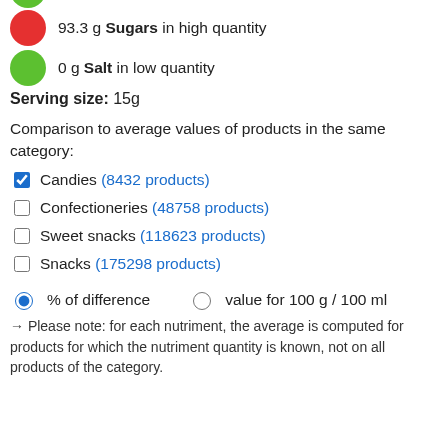93.3 g Sugars in high quantity
0 g Salt in low quantity
Serving size: 15g
Comparison to average values of products in the same category:
Candies (8432 products)
Confectioneries (48758 products)
Sweet snacks (118623 products)
Snacks (175298 products)
% of difference   value for 100 g / 100 ml
→ Please note: for each nutriment, the average is computed for products for which the nutriment quantity is known, not on all products of the category.